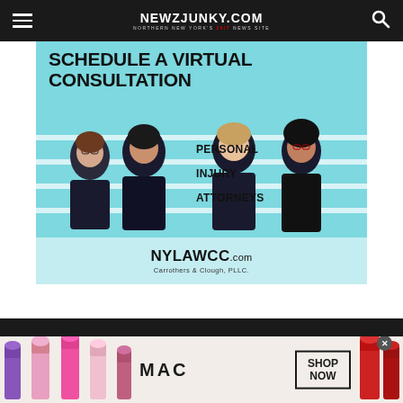NEWZJUNKY.COM — NORTHERN NEW YORK'S 24/7 NEWS SITE
[Figure (advertisement): Law firm advertisement for Carrothers & Clough, PLLC personal injury attorneys. Teal background with text 'SCHEDULE A VIRTUAL CONSULTATION', 'PERSONAL INJURY ATTORNEYS', 'NYLAWCC.com', 'Carrothers & Clough, PLLC.' and four women in business attire.]
[Figure (advertisement): MAC cosmetics advertisement showing lipsticks in purple, pink, and red colors with 'MAC' text and 'SHOP NOW' button.]